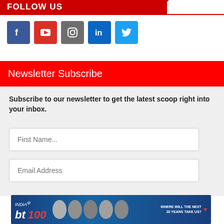FOLLOW US
[Figure (infographic): Row of 5 social media icon buttons: Facebook (blue), YouTube (red), Instagram (grey), LinkedIn (blue), Twitter (light blue)]
Newsletter Subscribe
Subscribe to our newsletter to get the latest scoop right into your inbox.
[Figure (screenshot): Input field placeholder: First Name...]
[Figure (screenshot): Input field placeholder: Email Address]
[Figure (photo): bt India@100 advertisement banner with panel of speakers/journalists, tagline: WHERE WILL THE NEXT 20 YEARS TAKE US?]